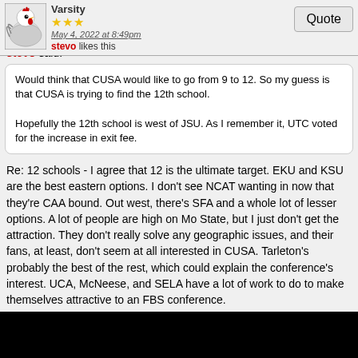Varsity — May 4, 2022 at 8:49pm — stevo likes this — Quote
stevo said:
Would think that CUSA would like to go from 9 to 12. So my guess is that CUSA is trying to find the 12th school.

Hopefully the 12th school is west of JSU. As I remember it, UTC voted for the increase in exit fee.
Re: 12 schools - I agree that 12 is the ultimate target. EKU and KSU are the best eastern options. I don't see NCAT wanting in now that they're CAA bound. Out west, there's SFA and a whole lot of lesser options. A lot of people are high on Mo State, but I just don't get the attraction. They don't really solve any geographic issues, and their fans, at least, don't seem at all interested in CUSA. Tarleton's probably the best of the rest, which could explain the conference's interest. UCA, McNeese, and SELA have a lot of work to do to make themselves attractive to an FBS conference.
Re: UTC and the exit fee - From what I understand, they did, in fact, vote for the increase. If that's not a signal of their long-term intentions, I don't know what is.